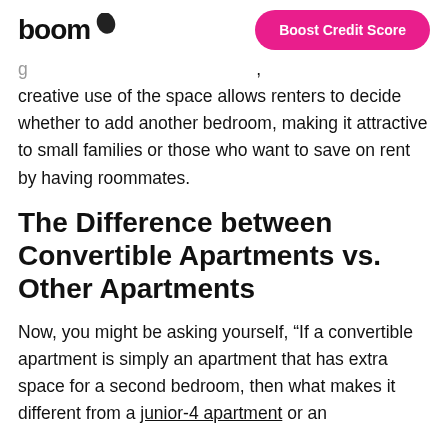boom | Boost Credit Score
creative use of the space allows renters to decide whether to add another bedroom, making it attractive to small families or those who want to save on rent by having roommates.
The Difference between Convertible Apartments vs. Other Apartments
Now, you might be asking yourself, “If a convertible apartment is simply an apartment that has extra space for a second bedroom, then what makes it different from a junior-4 apartment or an